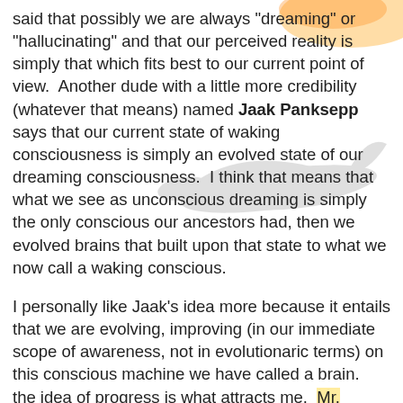said that possibly we are always "dreaming" or "hallucinating" and that our perceived reality is simply that which fits best to our current point of view.  Another dude with a little more credibility (whatever that means) named Jaak Panksepp says that our current state of waking consciousness is simply an evolved state of our dreaming consciousness.  I think that means that what we see as unconscious dreaming is simply the only conscious our ancestors had, then we evolved brains that built upon that state to what we now call a waking conscious.
I personally like Jaak's idea more because it entails that we are evolving, improving (in our immediate scope of awareness, not in evolutionaric terms) on this conscious machine we have called a brain.  the idea of progress is what attracts me.  Mr. Ramachandran's idea is fun and would make a great movie, but it is too romantic for me to hold any ground in my life.  if he was right than if I thought hard enough I could just change my reality.  Choose a perception that although didn't fit my current reality, fit whichever reality I perceived as correct.  There seems to be too much